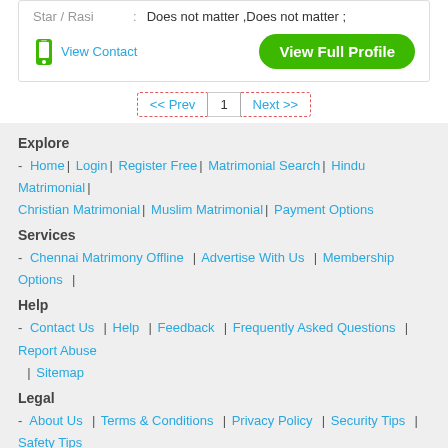Star / Rasi : Does not matter ,Does not matter ;
View Contact
View Full Profile
<< Prev | 1 | Next >>
Explore
- Home | Login | Register Free | Matrimonial Search | Hindu Matrimonial | Christian Matrimonial | Muslim Matrimonial | Payment Options
Services
- Chennai Matrimony Offline | Advertise With Us | Membership Options |
Help
- Contact Us | Help | Feedback | Frequently Asked Questions | Report Abuse | Sitemap
Legal
- About Us | Terms & Conditions | Privacy Policy | Security Tips | Safety Tips
Browse Matrimonial Profiles By
Religion | Caste | Subcaste | Cities | Marital Status | Education | Occupation | More
Brides by Religion